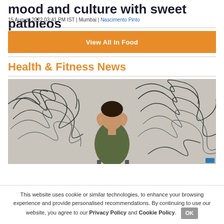mood and culture with sweet patbieos
15 August,2022 03:41 PM IST | Mumbai | Nascimento Pinto
View All In Food
Health & Fitness News
[Figure (photo): Person sitting with head in hands, chaotic scribble lines drawn on wall behind them, depicting stress or anxiety.]
This website uses cookie or similar technologies, to enhance your browsing experience and provide personalised recommendations. By continuing to use our website, you agree to our Privacy Policy and Cookie Policy.